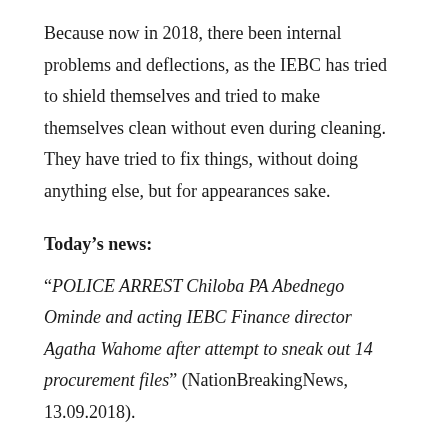Because now in 2018, there been internal problems and deflections, as the IEBC has tried to shield themselves and tried to make themselves clean without even during cleaning. They have tried to fix things, without doing anything else, but for appearances sake.
Today's news:
“POLICE ARREST Chiloba PA Abednego Ominde and acting IEBC Finance director Agatha Wahome after attempt to sneak out 14 procurement files” (NationBreakingNews, 13.09.2018).
The suspension of Ezra Chiloba haven’t changed anything, there are Commissioners who has returned as they are even paid while they had quit their offices.